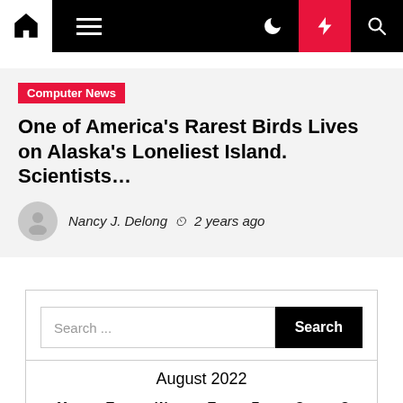Navigation bar with home, menu, dark mode, lightning, and search icons
Computer News
One of America's Rarest Birds Lives on Alaska's Loneliest Island. Scientists…
Nancy J. Delong  2 years ago
Search ...
August 2022
| M | T | W | T | F | S | S |
| --- | --- | --- | --- | --- | --- | --- |
| 1 | 2 | 3 | 4 | 5 | 6 | 7 |